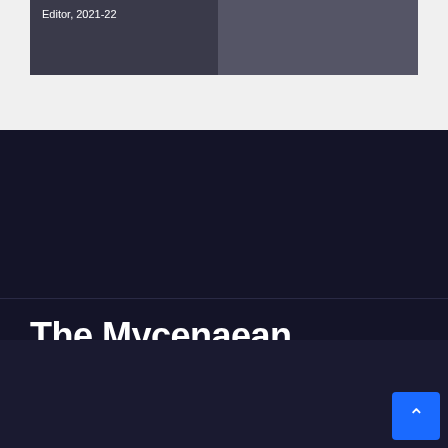[Figure (photo): Partially visible photo card with text 'Editor, 2021-22' and a dark background image of people]
The Mycenaean
Leesville Road High School
© Copyright 2020 Newsup. All Rights Reserved. by Themeansar
Home